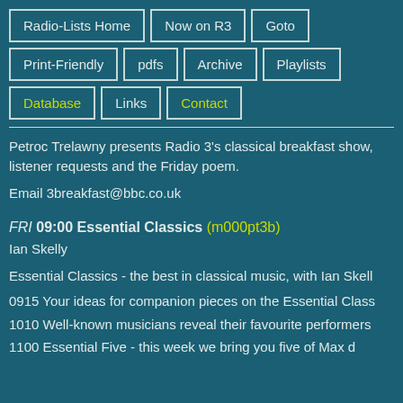Radio-Lists Home
Now on R3
Goto
Print-Friendly
pdfs
Archive
Playlists
Database
Links
Contact
Petroc Trelawny presents Radio 3's classical breakfast show, listener requests and the Friday poem.
Email 3breakfast@bbc.co.uk
FRI 09:00 Essential Classics (m000pt3b)
Ian Skelly
Essential Classics - the best in classical music, with Ian Skell
0915 Your ideas for companion pieces on the Essential Class
1010 Well-known musicians reveal their favourite performers
1100 Essential Five - this week we bring you five of Max d